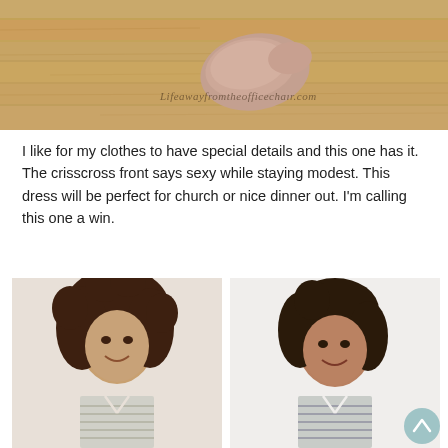[Figure (photo): Top portion of a photo showing a wooden floor and a nude/tan flat shoe, with watermark text 'Lifeawayfromtheofficechaired.com' overlaid on the image.]
I like for my clothes to have special details and this one has it. The crisscross front says sexy while staying modest. This dress will be perfect for church or nice dinner out. I'm calling this one a win.
[Figure (photo): Side-by-side photos of two women wearing a striped dress with a crisscross front detail. Left: a young woman with voluminous curly dark hair smiling. Right: an older woman with wavy dark hair smiling, with a scroll-to-top button visible in the bottom right corner.]